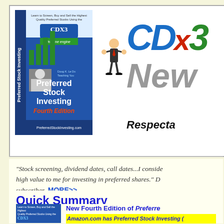[Figure (illustration): Header banner with book cover image of 'Preferred Stock Investing Fourth Edition' by CDX3 Income Engine and CDX3 Newsletter logo with 'Respectable...' tagline]
"Stock screening, dividend dates, call dates...I consider [CDX3] high value to me for investing in preferred shares." - CDX3 subscriber  MORE>>
Quick Summary
New Fourth Edition of Preferred...
Amazon.com has Preferred Stock Investing...